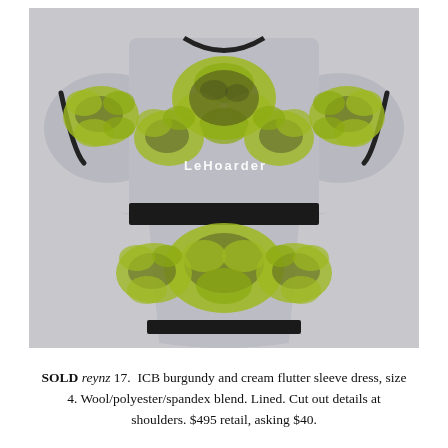[Figure (photo): Photo of a short-sleeve dress with grey background and yellow-green baroque/damask floral print with black accents. The dress has a black waistband and black hem trim. The back of the dress is shown. A watermark reading 'LeHoarder' appears in white text over the image.]
SOLD reynz 17.  ICB burgundy and cream flutter sleeve dress, size 4. Wool/polyester/spandex blend. Lined. Cut out details at shoulders. $495 retail, asking $40.